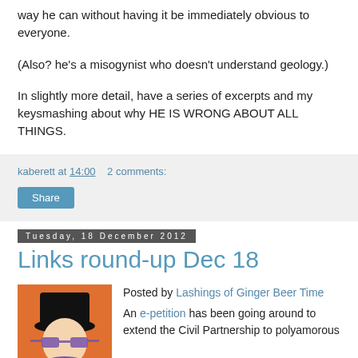way he can without having it be immediately obvious to everyone.
(Also? he's a misogynist who doesn't understand geology.)
In slightly more detail, have a series of excerpts and my keysmashing about why HE IS WRONG ABOUT ALL THINGS.
kaberett at 14:00   2 comments:
Share
Tuesday, 18 December 2012
Links round-up Dec 18
Posted by Lashings of Ginger Beer Time
An e-petition has been going around to extend the Civil Partnership to polyamorous